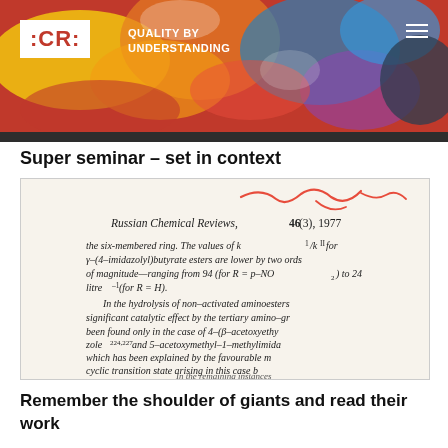[Figure (photo): Website header banner with colorful abstract painted background in red, yellow, blue. Shows :CR: logo on white box, text QUALITY BY UNDERSTANDING, hamburger menu icon on right.]
Super seminar – set in context
[Figure (photo): Photograph of a journal page from Russian Chemical Reviews, 46(3), 1977. Text visible about hydrolysis of non-activated aminoesters, six-membered ring, k1/k11 values for y-(4-imidazolyl)butyrate esters, and references to 5-acetoxymethyl-1-methylimidazole. Red handwritten annotations visible at top.]
Remember the shoulder of giants and read their work